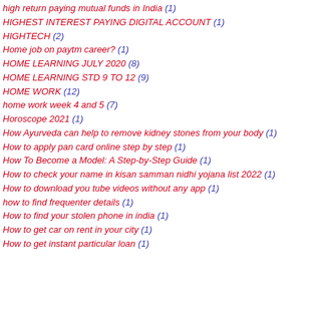high return paying mutual funds in India (1)
HIGHEST INTEREST PAYING DIGITAL ACCOUNT (1)
HIGHTECH (2)
Home job on paytm career? (1)
HOME LEARNING JULY 2020 (8)
HOME LEARNING STD 9 TO 12 (9)
HOME WORK (12)
home work week 4 and 5 (7)
Horoscope 2021 (1)
How Ayurveda can help to remove kidney stones from your body (1)
How to apply pan card online step by step (1)
How To Become a Model: A Step-by-Step Guide (1)
How to check your name in kisan samman nidhi yojana list 2022 (1)
How to download you tube videos without any app (1)
how to find frequenter details (1)
How to find your stolen phone in india (1)
How to get car on rent in your city (1)
How to get instant particular loan (1)